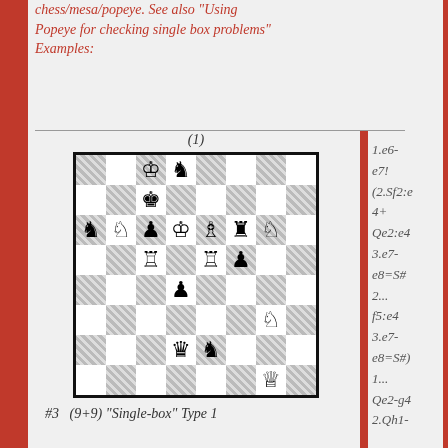chess/mesa/popeye. See also "Using Popeye for checking single box problems" Examples:
[Figure (other): Chess diagram labeled (1), showing a chess position with pieces on an 8x8 board with hatched dark squares]
#3   (9+9) "Single-box" Type 1
1.e6-e7! (2.Sf2:e4+ Qe2:e4 3.e7-e8=S# 2... f5:e4 3.e7-e8=S#) 1... Qe2-g4 2.Qh1-